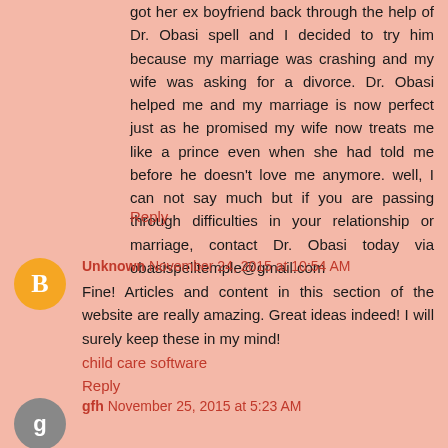got her ex boyfriend back through the help of Dr. Obasi spell and I decided to try him because my marriage was crashing and my wife was asking for a divorce. Dr. Obasi helped me and my marriage is now perfect just as he promised my wife now treats me like a prince even when she had told me before he doesn't love me anymore. well, I can not say much but if you are passing through difficulties in your relationship or marriage, contact Dr. Obasi today via obasispelltemple@gmail.com
Reply
Unknown November 24, 2015 at 10:54 AM
Fine! Articles and content in this section of the website are really amazing. Great ideas indeed! I will surely keep these in my mind!
child care software
Reply
gfh November 25, 2015 at 5:23 AM